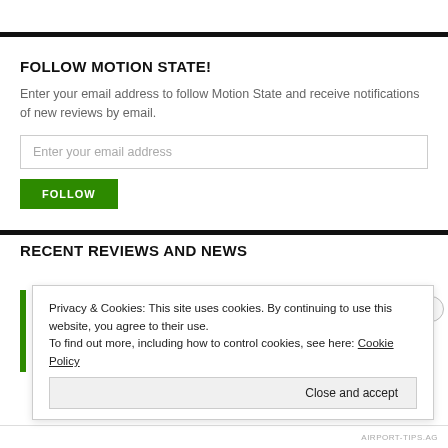FOLLOW MOTION STATE!
Enter your email address to follow Motion State and receive notifications of new reviews by email.
Enter your email address
FOLLOW
RECENT REVIEWS AND NEWS
Privacy & Cookies: This site uses cookies. By continuing to use this website, you agree to their use. To find out more, including how to control cookies, see here: Cookie Policy
Close and accept
AIRPORT-TIPS.AG